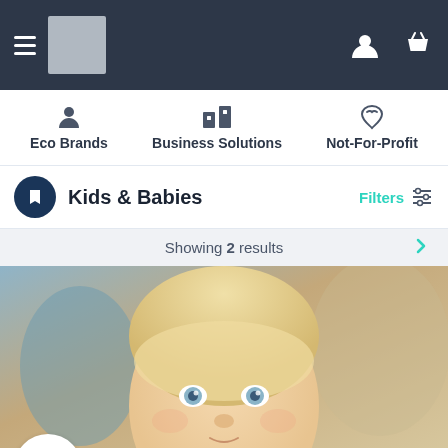Navigation bar with hamburger menu, logo placeholder, user icon, basket icon
Eco Brands
Business Solutions
Not-For-Profit
Kids & Babies
Filters
Showing 2 results
[Figure (photo): Close-up photo of a young blond toddler with blue eyes]
Cherub Baby
We make little easy!
Map view
9/6a Railway Avenue